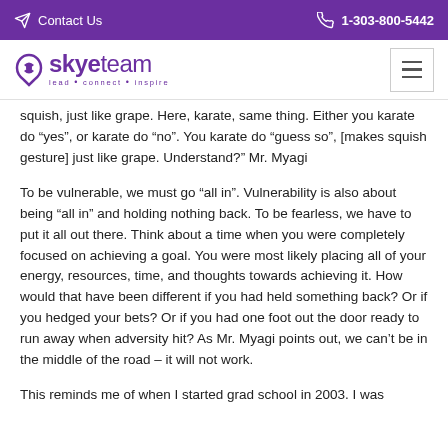Contact Us   1-303-800-5442
[Figure (logo): SkyeTeam logo with tagline 'lead • connect • inspire']
squish, just like grape. Here, karate, same thing. Either you karate do “yes”, or karate do “no”. You karate do “guess so”, [makes squish gesture] just like grape. Understand?” Mr. Myagi
To be vulnerable, we must go “all in”. Vulnerability is also about being “all in” and holding nothing back. To be fearless, we have to put it all out there. Think about a time when you were completely focused on achieving a goal. You were most likely placing all of your energy, resources, time, and thoughts towards achieving it. How would that have been different if you had held something back? Or if you hedged your bets? Or if you had one foot out the door ready to run away when adversity hit? As Mr. Myagi points out, we can’t be in the middle of the road – it will not work.
This reminds me of when I started grad school in 2003. I was